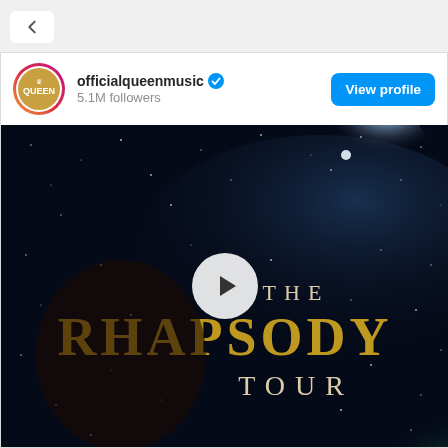[Figure (screenshot): Browser navigation bar with back button]
[Figure (screenshot): Instagram post by officialqueenmusic with 5.1M followers, showing a video thumbnail for The Rhapsody Tour with a play button overlay]